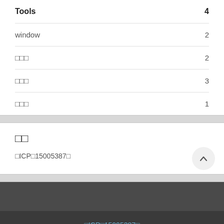Tools  4
window  2
□□□  2
□□□  3
□□□  1
□□
□ICP□15005387□
□ICP□15005387□